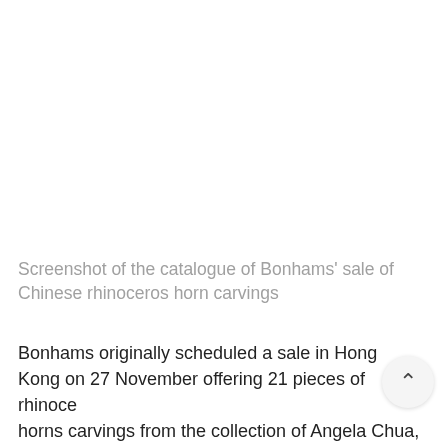Screenshot of the catalogue of Bonhams’ sale of Chinese rhinoceros horn carvings
Bonhams originally scheduled a sale in Hong Kong on 27 November offering 21 pieces of rhinoceros horns carvings from the collection of Angela Chua, a Hong Kong collector. Rhinocero horns items offered include libation cups, snuff bottles, pouring